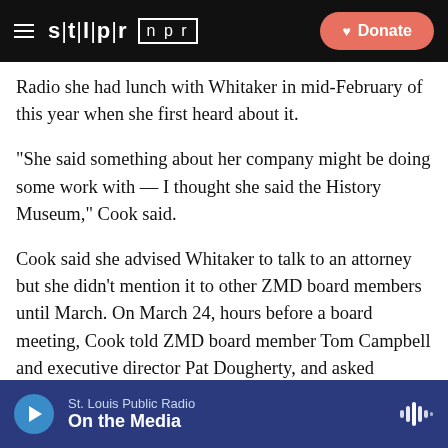STL|PR  npr  Donate
Radio she had lunch with Whitaker in mid-February of this year when she first heard about it.
“She said something about her company might be doing some work with — I thought she said the History Museum,” Cook said.
Cook said she advised Whitaker to talk to an attorney but she didn’t mention it to other ZMD board members until March. On March 24, hours before a board meeting, Cook told ZMD board member Tom Campbell and executive director Pat Dougherty, and asked Dougherty to add an item to the agenda that Whitaker would have an announcement.
St. Louis Public Radio  On the Media